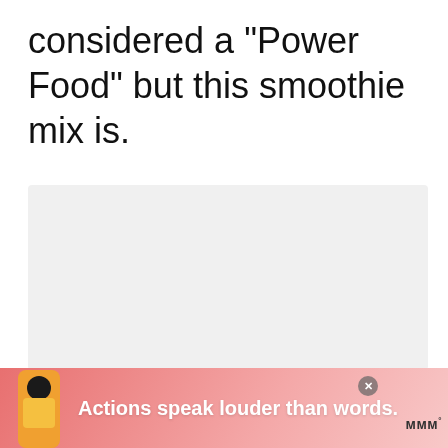considered a "Power Food" but this smoothie mix is.
[Figure (screenshot): Light gray placeholder content area]
[Figure (infographic): UI controls: heart/like button (blue circle), count 339, share button, three dots pagination indicator, scroll-up button, What's Next bar with Weight Watchers Fr... thumbnail, search button]
[Figure (infographic): Ad banner with pink gradient background, person in yellow shirt, text 'Actions speak louder than words.', close X button, and logo with degree symbol]